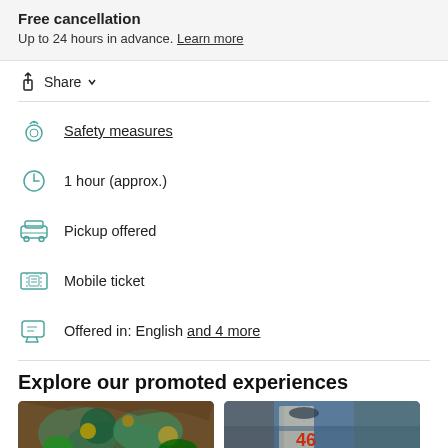Free cancellation
Up to 24 hours in advance. Learn more
Share
Safety measures
1 hour (approx.)
Pickup offered
Mobile ticket
Offered in: English and 4 more
Explore our promoted experiences
[Figure (photo): Colorful peacock feather mural artwork on a wall]
[Figure (photo): Street scene with a person wearing a sports jersey number 46]